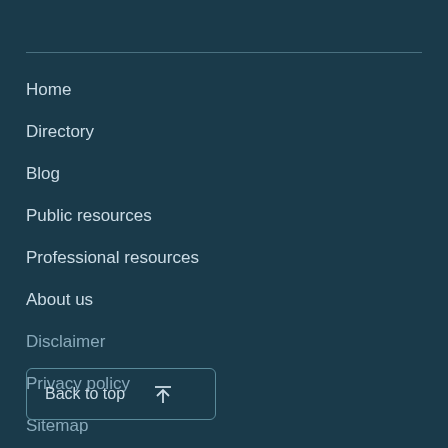Home
Directory
Blog
Public resources
Professional resources
About us
Disclaimer
Privacy policy
Sitemap
Back to top